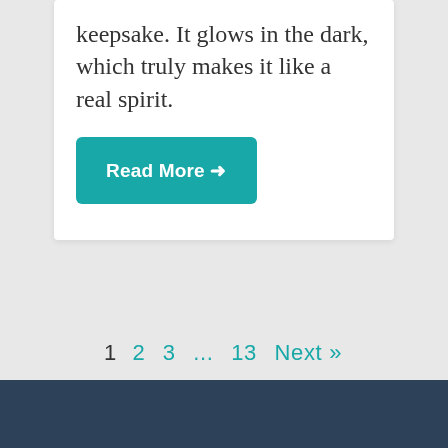keepsake. It glows in the dark, which truly makes it like a real spirit.
Read More →
1  2  3  ...  13  Next »